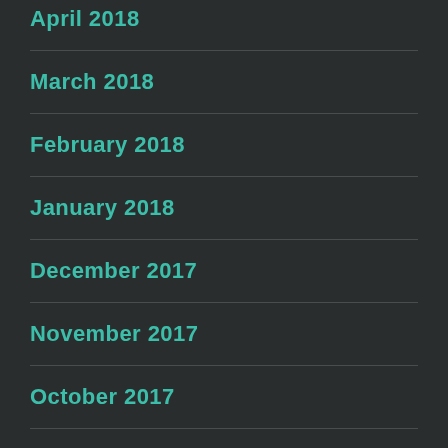April 2018
March 2018
February 2018
January 2018
December 2017
November 2017
October 2017
September 2017
August 2017